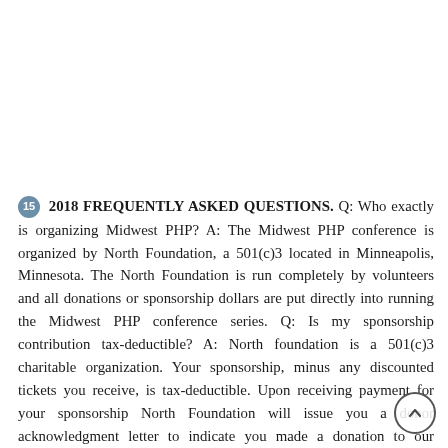15  2018 FREQUENTLY ASKED QUESTIONS. Q: Who exactly is organizing Midwest PHP? A: The Midwest PHP conference is organized by North Foundation, a 501(c)3 located in Minneapolis, Minnesota. The North Foundation is run completely by volunteers and all donations or sponsorship dollars are put directly into running the Midwest PHP conference series. Q: Is my sponsorship contribution tax-deductible? A: North foundation is a 501(c)3 charitable organization. Your sponsorship, minus any discounted tickets you receive, is tax-deductible. Upon receiving payment for your sponsorship North Foundation will issue you a donor acknowledgment letter to indicate you made a donation to our organization. Q: Where can I find a copy of your W-9? A: A copy of our W-9 can be found at Q: Can I provide swag to your attendees? A: By all means yes. We want our sponsorship area to be an